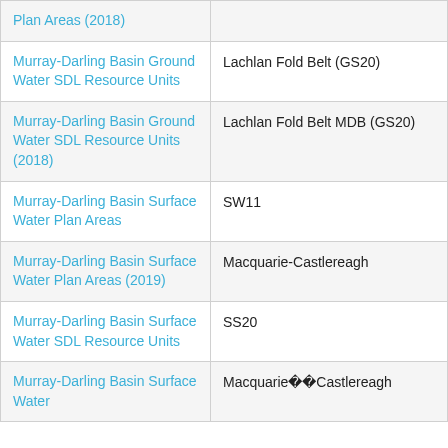| Dataset | Value |
| --- | --- |
| Plan Areas (2018) |  |
| Murray-Darling Basin Ground Water SDL Resource Units | Lachlan Fold Belt (GS20) |
| Murray-Darling Basin Ground Water SDL Resource Units (2018) | Lachlan Fold Belt MDB (GS20) |
| Murray-Darling Basin Surface Water Plan Areas | SW11 |
| Murray-Darling Basin Surface Water Plan Areas (2019) | Macquarie-Castlereagh |
| Murray-Darling Basin Surface Water SDL Resource Units | SS20 |
| Murray-Darling Basin Surface Water | Macquarie��Castlereagh |